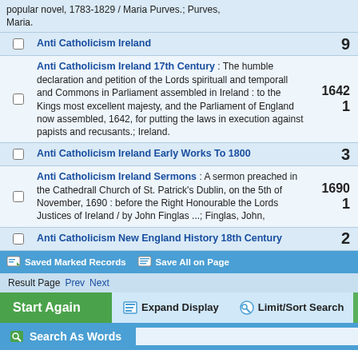popular novel, 1783-1829 / Maria Purves.; Purves, Maria.
Anti Catholicism Ireland — 9
Anti Catholicism Ireland 17th Century : The humble declaration and petition of the Lords spirituall and temporall and Commons in Parliament assembled in Ireland : to the Kings most excellent majesty, and the Parliament of England now assembled, 1642, for putting the laws in execution against papists and recusants.; Ireland. — 1642, 1
Anti Catholicism Ireland Early Works To 1800 — 3
Anti Catholicism Ireland Sermons : A sermon preached in the Cathedrall Church of St. Patrick's Dublin, on the 5th of November, 1690 : before the Right Honourable the Lords Justices of Ireland / by John Finglas ...; Finglas, John, — 1690, 1
Anti Catholicism New England History 18th Century — 2
Saved Marked Records   Save All on Page   Result Page  Prev  Next
Start Again   Expand Display   Limit/Sort Search
Search As Words